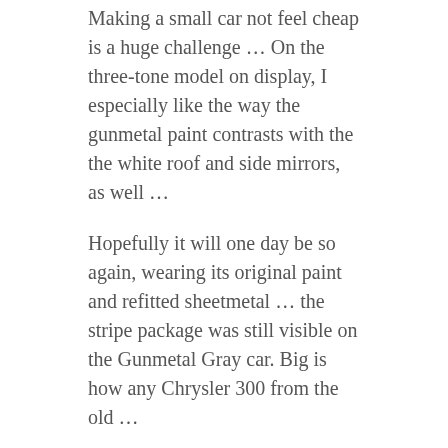Making a small car not feel cheap is a huge challenge … On the three-tone model on display, I especially like the way the gunmetal paint contrasts with the the white roof and side mirrors, as well …
Hopefully it will one day be so again, wearing its original paint and refitted sheetmetal … the stripe package was still visible on the Gunmetal Gray car. Big is how any Chrysler 300 from the old …
Buy Restoration Shop – Gallon ONLY – GUNMETAL GREY METALLIC Acrylic Enamel Single Stage Car Auto Paint: Body Paint – Amazon.com FREE DELIVERY possible on eligible purchases
It has a Gunmetal Grey metallic paint, 20-inch Mercurio alloy wheels … by a 3.0-liter diesel engine and has a custom rear end with an electric tailgate. The car